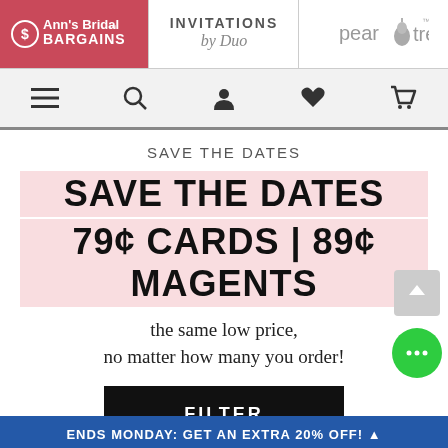[Figure (screenshot): Website header with three brand logos: Ann's Bridal Bargains (red background), Invitations by Duo (italic script), and Pear Tree (with pear icon)]
[Figure (screenshot): Navigation bar with hamburger menu, search, account, heart/wishlist, and cart icons]
SAVE THE DATES
SAVE THE DATES 79¢ CARDS | 89¢ MAGENTS
the same low price, no matter how many you order!
FILTER
ENDS MONDAY: GET AN EXTRA 20% OFF!